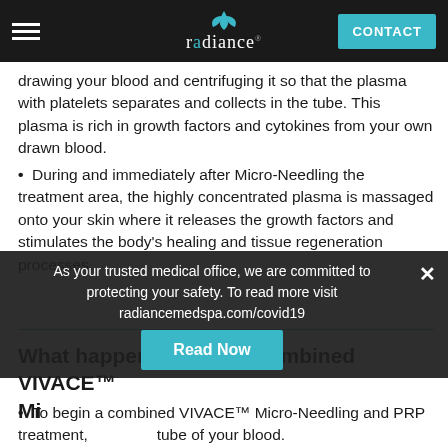radiance — CONTACT
drawing your blood and centrifuging it so that the plasma with platelets separates and collects in the tube. This plasma is rich in growth factors and cytokines from your own drawn blood.
During and immediately after Micro-Needling the treatment area, the highly concentrated plasma is massaged onto your skin where it releases the growth factors and stimulates the body's healing and tissue regeneration processes.
What happens during a combined VIVACE™ Mi...
To begin a combined VIVACE™ Micro-Needling and PRP treatment, we draw a tube of your blood.
Next, we spin your blood in our centrifuge to
As your trusted medical office, we are committed to protecting your safety. To read more visit radiancemedspa.com/covid19
Read Now